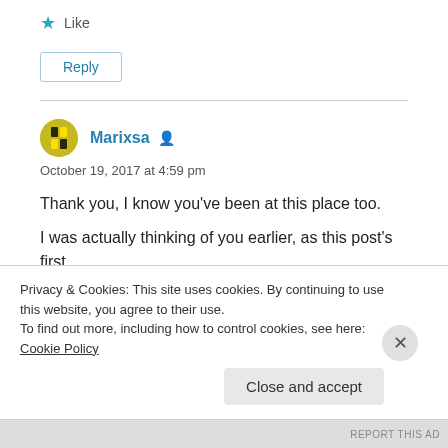★ Like
Reply
Marixsa 👤
October 19, 2017 at 4:59 pm
Thank you, I know you've been at this place too.
I was actually thinking of you earlier, as this post's first
Privacy & Cookies: This site uses cookies. By continuing to use this website, you agree to their use.
To find out more, including how to control cookies, see here: Cookie Policy
Close and accept